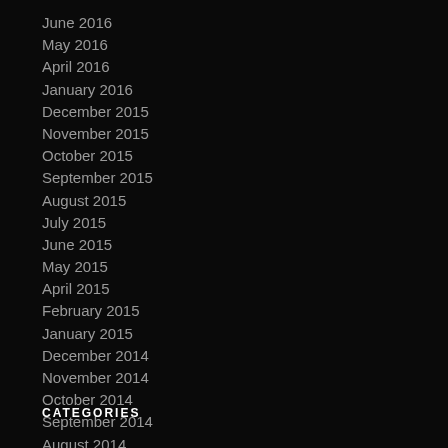June 2016
May 2016
April 2016
January 2016
December 2015
November 2015
October 2015
September 2015
August 2015
July 2015
June 2015
May 2015
April 2015
February 2015
January 2015
December 2014
November 2014
October 2014
September 2014
August 2014
CATEGORIES